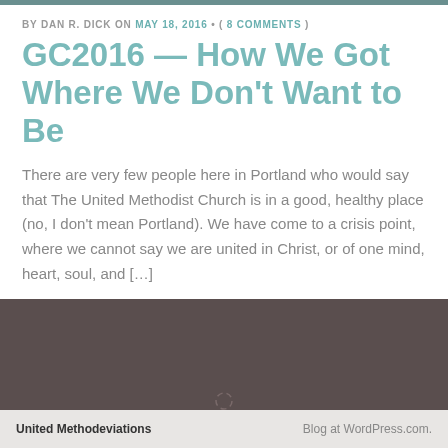BY DAN R. DICK ON MAY 18, 2016 • ( 8 COMMENTS )
GC2016 — How We Got Where We Don't Want to Be
There are very few people here in Portland who would say that The United Methodist Church is in a good, healthy place (no, I don't mean Portland).  We have come to a crisis point, where we cannot say we are united in Christ, or of one mind, heart, soul, and […]
[Figure (photo): Dark brownish-grey image placeholder with a loading spinner icon in the center]
United Methodeviations    Blog at WordPress.com.